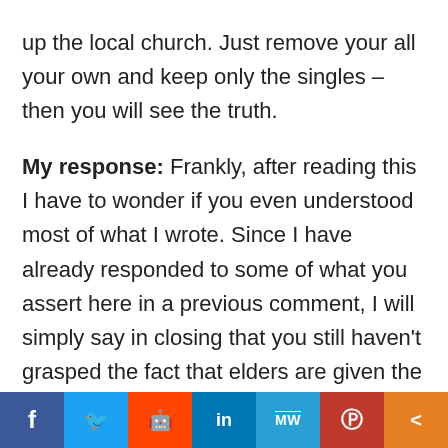up the local church. Just remove your all your own and keep only the singles – then you will see the truth.

My response: Frankly, after reading this I have to wonder if you even understood most of what I wrote. Since I have already responded to some of what you assert here in a previous comment, I will simply say in closing that you still haven't grasped the fact that elders are given the authority and responsibility to shepherd every member of the flock, regardless of
[Figure (infographic): Social media share bar with buttons for Facebook, Twitter, Reddit, LinkedIn, MeWe, Parler, and a generic share button]